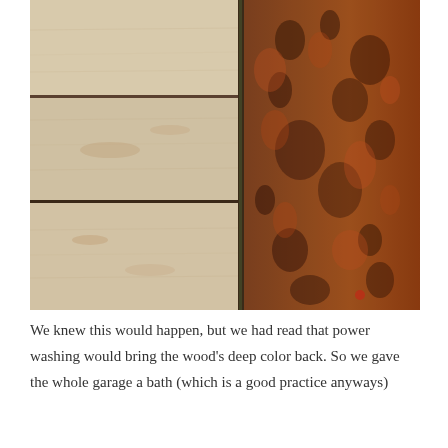[Figure (photo): Close-up photo showing a contrast between weathered light-colored horizontal wood planks on the left half and rough rusty/corroded brown-orange metal surface on the right half, divided vertically in the middle.]
We knew this would happen, but we had read that power washing would bring the wood's deep color back. So we gave the whole garage a bath (which is a good practice anyways)